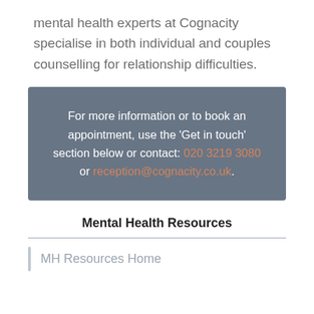mental health experts at Cognacity specialise in both individual and couples counselling for relationship difficulties.
For more information or to book an appointment, use the 'Get in touch' section below or contact: 020 3219 3080 or reception@cognacity.co.uk.
Mental Health Resources
MH Resources Home